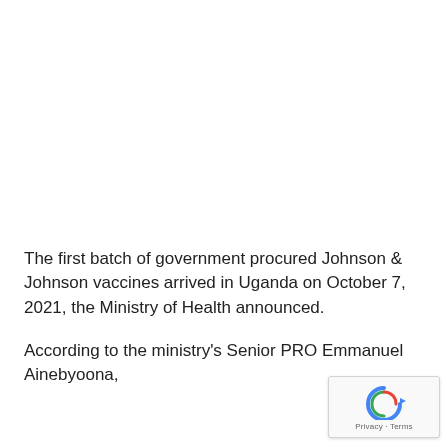The first batch of government procured Johnson & Johnson vaccines arrived in Uganda on October 7, 2021, the Ministry of Health announced.
According to the ministry's Senior PRO Emmanuel Ainebyoona,